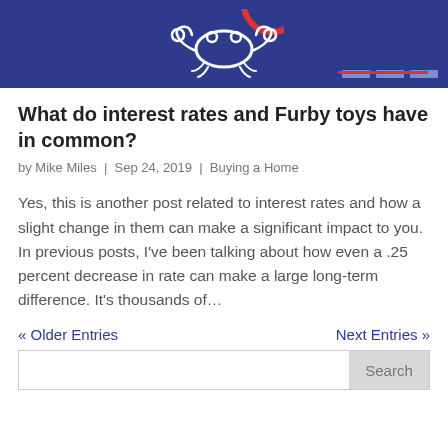[Figure (illustration): Blog article hero image with dark blue background featuring a cartoon crab illustration in white outline, a red circular element partially visible at top right, and decorative gray bars with a red underline at bottom right.]
What do interest rates and Furby toys have in common?
by Mike Miles | Sep 24, 2019 | Buying a Home
Yes, this is another post related to interest rates and how a slight change in them can make a significant impact to you. In previous posts, I've been talking about how even a .25 percent decrease in rate can make a large long-term difference. It's thousands of…
« Older Entries
Next Entries »